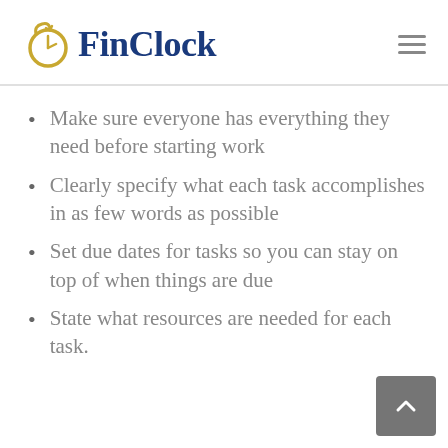FinClock
Make sure everyone has everything they need before starting work
Clearly specify what each task accomplishes in as few words as possible
Set due dates for tasks so you can stay on top of when things are due
State what resources are needed for each task.